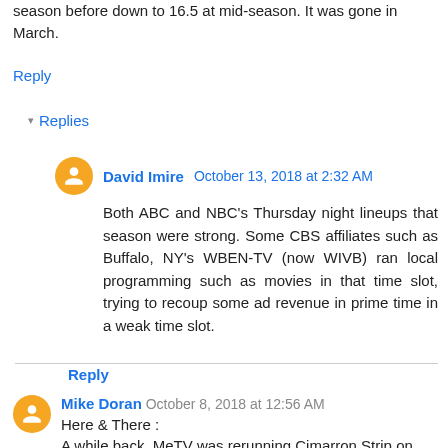season before down to 16.5 at mid-season. It was gone in March.
Reply
Replies
David Imire  October 13, 2018 at 2:32 AM
Both ABC and NBC's Thursday night lineups that season were strong. Some CBS affiliates such as Buffalo, NY's WBEN-TV (now WIVB) ran local programming such as movies in that time slot, trying to recoup some ad revenue in prime time in a weak time slot.
Reply
Mike Doran  October 8, 2018 at 12:56 AM
Here & There :
A while back, MeTV was rerunning Cimarron Strip on